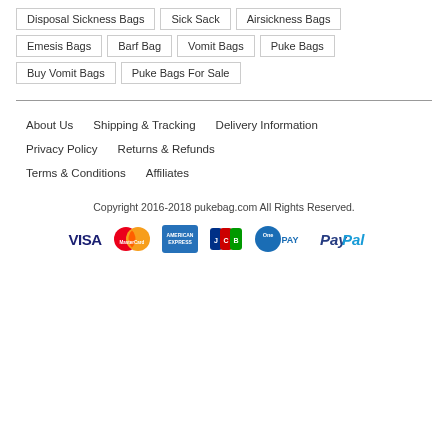Disposal Sickness Bags
Sick Sack
Airsickness Bags
Emesis Bags
Barf Bag
Vomit Bags
Puke Bags
Buy Vomit Bags
Puke Bags For Sale
About Us   Shipping & Tracking   Delivery Information
Privacy Policy   Returns & Refunds
Terms & Conditions   Affiliates
Copyright 2016-2018 pukebag.com All Rights Reserved.
[Figure (logo): Payment method logos: VISA, MasterCard, American Express, JCB, OnePAY, PayPal]